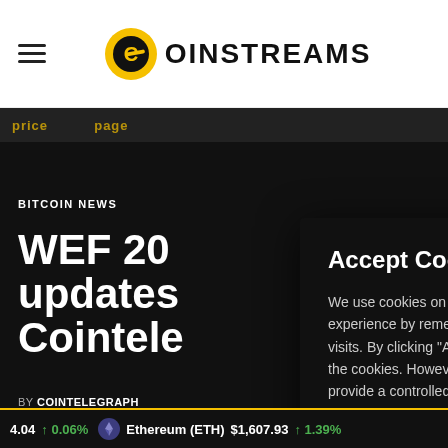COINSTREAMS
BITCOIN NEWS
WEF 20… updates… Cointele…
BY COINTELEGRAPH
3 MONTHS AGO
[Figure (screenshot): Accept Cookies modal dialog with title 'Accept Cookies to Continue', body text about cookie usage, and two buttons: 'Cookie Settings' and 'Accept All']
4.04 ↑ 0.06%   Ethereum (ETH) $1,607.93 ↑ 1.39%